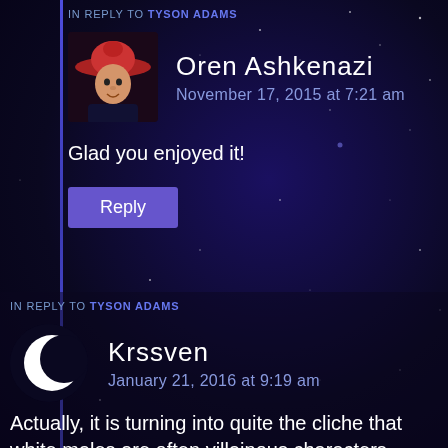IN REPLY TO TYSON ADAMS
Oren Ashkenazi
November 17, 2015 at 7:21 am
Glad you enjoyed it!
Reply
IN REPLY TO TYSON ADAMS
Krssven
January 21, 2016 at 9:19 am
Actually, it is turning into quite the cliche that white males are often villainous characters